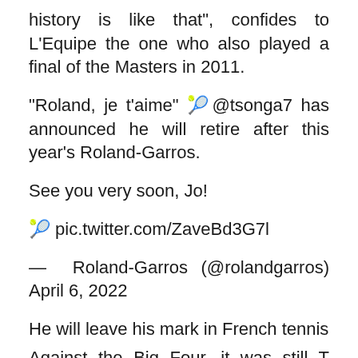history is like that", confides to L'Equipe the one who also played a final of the Masters in 2011.
"Roland, je t'aime" 🎾@tsonga7 has announced he will retire after this year's Roland-Garros.
See you very soon, Jo!
🎾 pic.twitter.com/ZaveBd3G7l
— Roland-Garros (@rolandgarros) April 6, 2022
He will leave his mark in French tennis
Against the Big Four, it was still Tsonga who came out the best among French tennis players…